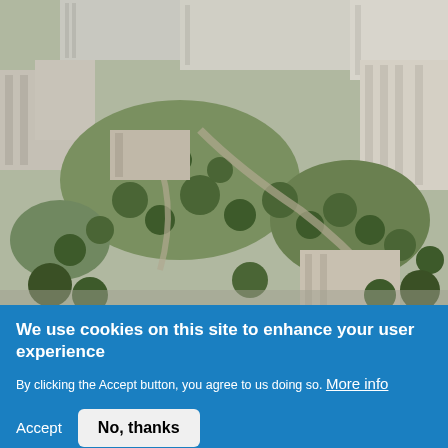[Figure (illustration): Aerial perspective rendering of an urban campus or city district with buildings, green spaces, pathways, and trees, shown in grayscale-green tones from an angled bird's-eye view.]
We use cookies on this site to enhance your user experience
By clicking the Accept button, you agree to us doing so. More info
Accept   No, thanks